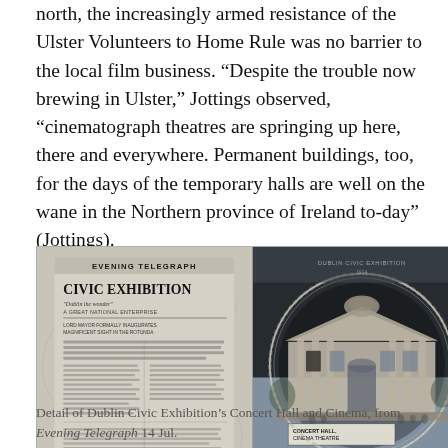north, the increasingly armed resistance of the Ulster Volunteers to Home Rule was no barrier to the local film business. “Despite the trouble now brewing in Ulster,” Jottings observed, “cinematograph theatres are springing up here, there and everywhere. Permanent buildings, too, for the days of the temporary halls are well on the wane in the Northern province of Ireland to-day” (Jottings).
[Figure (photo): Two-panel black and white image. Left panel shows a newspaper page of the Evening Telegraph featuring 'CIVIC EXHIBITION' headline. Right panel shows a detailed illustration of the Concert Hall and Cinema Theatre building from the Dublin Civic Exhibition.]
Detail of Dublin Civic Exhibition’s Concert Hall and Cinema, from Evening Telegraph 14 Jul.